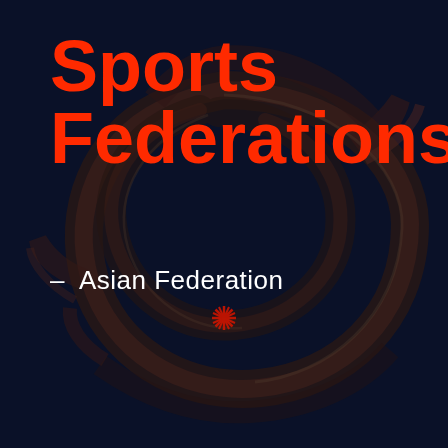[Figure (illustration): Dark navy background with a circular swirling dragon or serpent motif in dark red/maroon tones, with a starburst/asterisk shape at the center in red. The design wraps around the center of the page.]
Sports Federations
–  Asian Federation